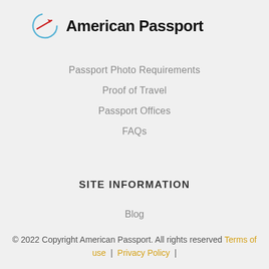[Figure (logo): American Passport logo: circular icon with a red arrow and blue arc, followed by bold text 'American Passport']
Passport Photo Requirements
Proof of Travel
Passport Offices
FAQs
SITE INFORMATION
Blog
© 2022 Copyright American Passport. All rights reserved Terms of use | Privacy Policy |